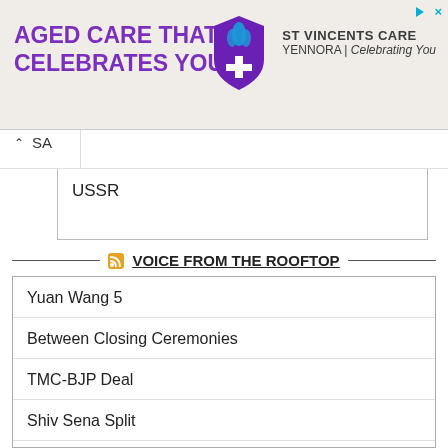[Figure (other): Advertisement banner for St Vincents Care Yennora aged care facility with purple logo and text 'AGED CARE THAT CELEBRATES YOU']
SA
USSR
VOICE FROM THE ROOFTOP
Yuan Wang 5
Between Closing Ceremonies
TMC-BJP Deal
Shiv Sena Split
Yashwant versus Draupadi